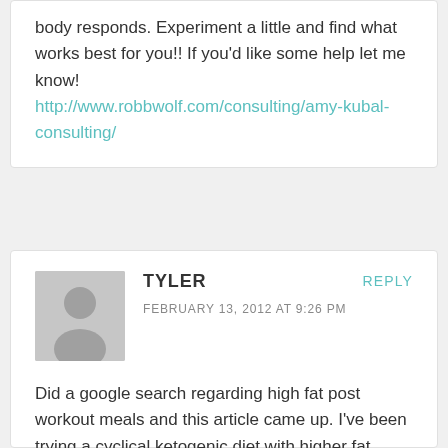body responds. Experiment a little and find what works best for you!! If you'd like some help let me know! http://www.robbwolf.com/consulting/amy-kubal-consulting/
[Figure (illustration): Generic grey avatar silhouette icon]
TYLER
FEBRUARY 13, 2012 AT 9:26 PM
REPLY
Did a google search regarding high fat post workout meals and this article came up. I've been trying a cyclical ketogenic diet with higher fat moderate protein paleo meals during the week. I understand that exercise in